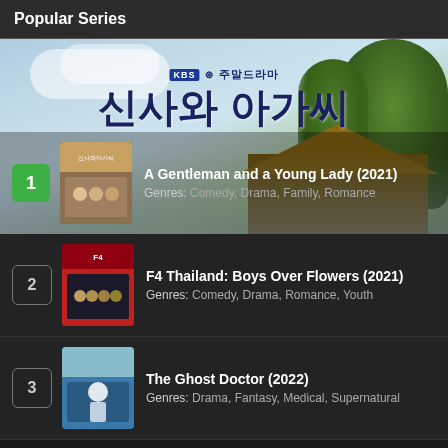Popular Series
[Figure (photo): Hero banner image for Korean drama 'A Gentleman and a Young Lady' (신사와 아가씨) showing KBS 주말드라마 logo and Korean title text against a scenic background with house and trees]
1. A Gentleman and a Young Lady (2021) - Genres: Comedy, Drama, Family, Romance
2. F4 Thailand: Boys Over Flowers (2021) - Genres: Comedy, Drama, Romance, Youth
3. The Ghost Doctor (2022) - Genres: Drama, Fantasy, Medical, Supernatural